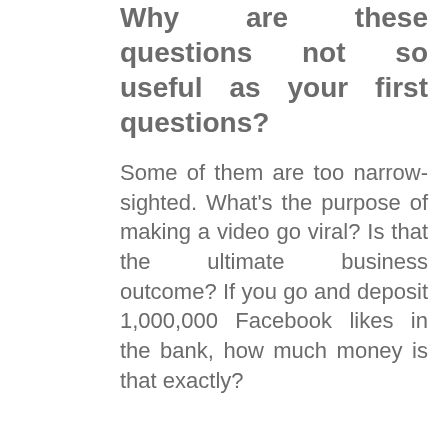Why are these questions not so useful as your first questions?
Some of them are too narrow-sighted. What's the purpose of making a video go viral? Is that the ultimate business outcome? If you go and deposit 1,000,000 Facebook likes in the bank, how much money is that exactly?